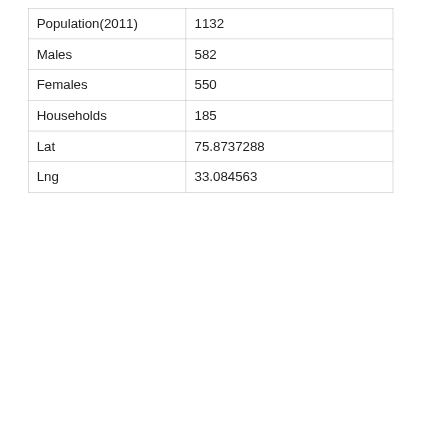| Population(2011) | 1132 |
| Males | 582 |
| Females | 550 |
| Households | 185 |
| Lat | 75.8737288 |
| Lng | 33.084563 |